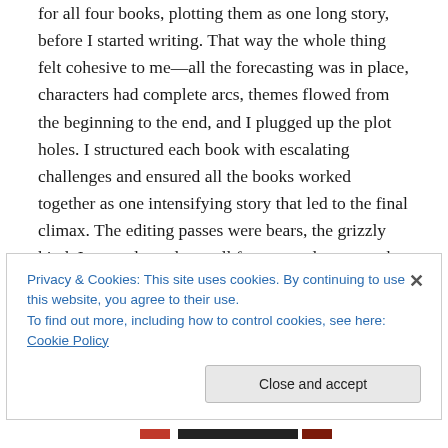for all four books, plotting them as one long story, before I started writing. That way the whole thing felt cohesive to me—all the forecasting was in place, characters had complete arcs, themes flowed from the beginning to the end, and I plugged up the plot holes. I structured each book with escalating challenges and ensured all the books worked together as one intensifying story that led to the final climax. The editing passes were bears, the grizzly kind. I wanted to release all four very close to each other so that readers who enjoyed the first one could pick up the next immediately. It made sense from a marketing standpoint, and it's how I like to read. Basically, to release them together, I
Privacy & Cookies: This site uses cookies. By continuing to use this website, you agree to their use.
To find out more, including how to control cookies, see here: Cookie Policy
Close and accept